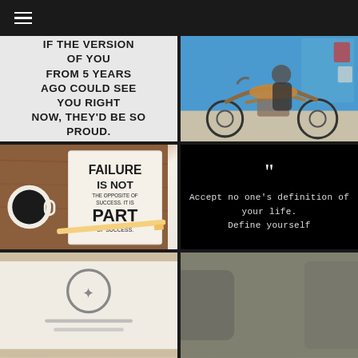[Figure (illustration): Navigation bar with hamburger menu icon on dark background]
[Figure (illustration): White card/wall with motivational quote: IF THE VERSION OF YOU FROM 5 YEARS AGO COULD SEE YOU RIGHT NOW, THEY'D BE SO PROUD.]
[Figure (photo): Person riding a vintage Harley-Davidson motorcycle on a street with blue wall in background]
[Figure (photo): Open notebook with motivational quote: FAILURE IS NOT THE OPPOSITE OF SUCCESS. IT IS PART OF SUCCESS. Coffee cup and pencil visible.]
[Figure (illustration): Black background with large quotation marks and text: Accept no one's definition of your life. Define yourself]
[Figure (photo): Partial view of a book or card on fabric surface, partially cut off at bottom]
[Figure (photo): Partial view of a dark/grey background scene, partially cut off at bottom]